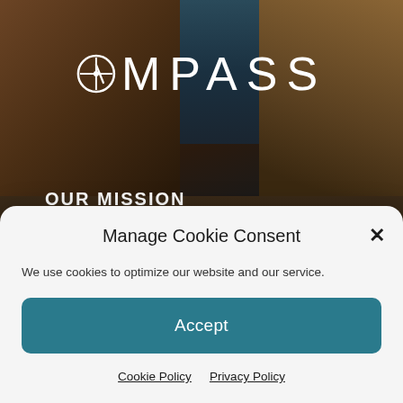[Figure (screenshot): Compass real estate website background showing coastal cliffs and ocean photography]
COMPASS
OUR MISSION
At Swallow Properties we are there for the client. We believe that integrity, honesty and trust are the
Manage Cookie Consent
We use cookies to optimize our website and our service.
Accept
Cookie Policy  Privacy Policy